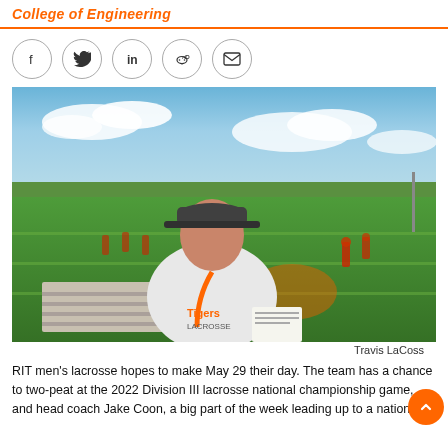College of Engineering
[Figure (other): Social media share icons: Facebook, Twitter, LinkedIn, Reddit, Email — circular outlined buttons]
[Figure (photo): A man with a beard wearing a Tigers Lacrosse shirt and orange lanyard, sitting in bleachers on a lacrosse field with players in background, under a bright blue sky]
Travis LaCoss
RIT men's lacrosse hopes to make May 29 their day. The team has a chance to two-peat at the 2022 Division III lacrosse national championship game, and head coach Jake Coon, a big part of the week leading up to a national